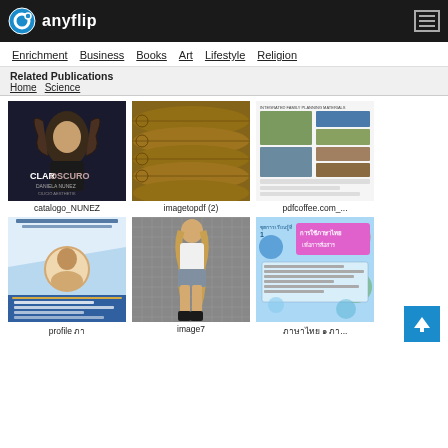anyflip
Enrichment  Business  Books  Art  Lifestyle  Religion
Related Publications
Home   Science
[Figure (photo): Book cover: CLAROSCURO by DANIELA NUNEZ]
catalogo_NUNEZ
[Figure (photo): Photo of wooden logs]
imagetopdf (2)
[Figure (photo): Agricultural publication thumbnail from pdfcoffee.com]
pdfcoffee.com_...
[Figure (photo): Blue Thai-language profile document cover]
profile ภา
[Figure (photo): Photo of a blonde woman posing]
image7
[Figure (photo): Thai-language educational document about food language]
ภาษาไทย ๑ ภา...